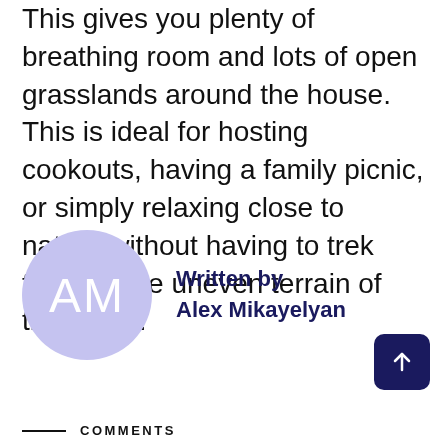This gives you plenty of breathing room and lots of open grasslands around the house. This is ideal for hosting cookouts, having a family picnic, or simply relaxing close to nature without having to trek through the uneven terrain of the forest.
[Figure (illustration): Author avatar: a lavender/periwinkle circle with white initials 'AM' inside, next to author attribution text 'Written by Alex Mikayelyan' in dark navy bold font.]
Written by
Alex Mikayelyan
[Figure (other): Back-to-top button: dark navy rounded square button with a white upward arrow icon.]
COMMENTS